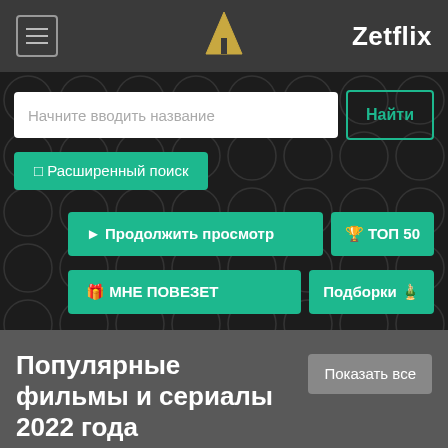Zetflix
Начните вводить название
Найти
⬡ Расширенный поиск
▶ Продолжить просмотр
🏆 ТОП 50
🎁 МНЕ ПОВЕЗЕТ
Подборки 🏅
Популярные фильмы и сериалы 2022 года
Показать все